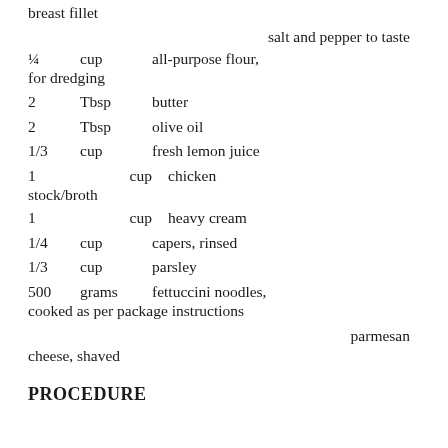breast fillet
salt and pepper to taste
¼  cup  all-purpose flour, for dredging
2  Tbsp  butter
2  Tbsp  olive oil
1/3  cup  fresh lemon juice
1  cup  chicken stock/broth
1  cup  heavy cream
1/4  cup  capers, rinsed
1/3  cup  parsley
500  grams  fettuccini noodles, cooked as per package instructions
parmesan cheese, shaved
PROCEDURE